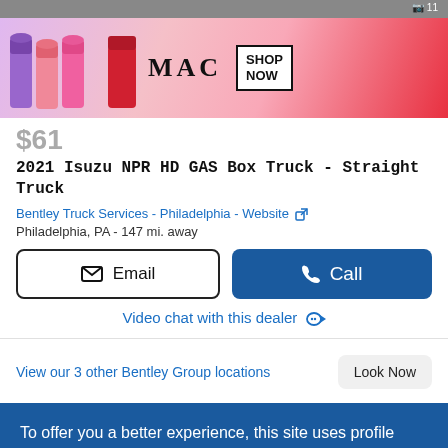[Figure (photo): MAC cosmetics advertisement banner with lipsticks, MAC logo, and SHOP NOW button]
$61
2021 Isuzu NPR HD GAS Box Truck - Straight Truck
Bentley Truck Services - Philadelphia - Website [external link icon]
Philadelphia, PA - 147 mi. away
Email
Call
Video chat with this dealer
View our 3 other Bentley Group locations
Look Now
To offer you a better experience, this site uses profile cookies, even from third parties. By continuing to use this website you consent to the use of cookies. For more information or to select your preferences consult our Privacy Policy
Cookie Settings
✓ OK